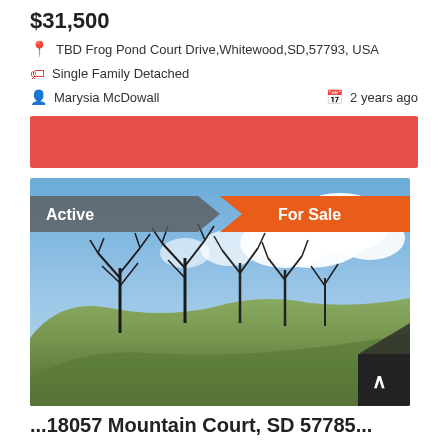$31,500
TBD Frog Pond Court Drive,Whitewood,SD,57793, USA
Single Family Detached
Marysia McDowall
2 years ago
[Figure (photo): Outdoor photo of a hillside with bare trees against a blue sky with clouds. Badges: 'Active' on top-left, 'For Sale' on top-right.]
...18057 Mountain Court, SD 57785...